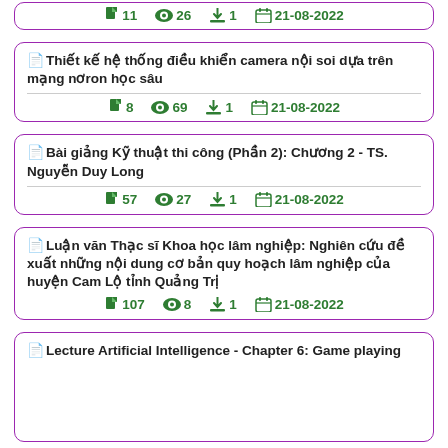11 pages · 26 views · 1 download · 21-08-2022
Thiết kế hệ thống điều khiển camera nội soi dựa trên mạng nơron học sâu · 8 pages · 69 views · 1 download · 21-08-2022
Bài giảng Kỹ thuật thi công (Phần 2): Chương 2 - TS. Nguyễn Duy Long · 57 pages · 27 views · 1 download · 21-08-2022
Luận văn Thạc sĩ Khoa học lâm nghiệp: Nghiên cứu đề xuất những nội dung cơ bản quy hoạch lâm nghiệp của huyện Cam Lộ tỉnh Quảng Trị · 107 pages · 8 views · 1 download · 21-08-2022
Lecture Artificial Intelligence - Chapter 6: Game playing